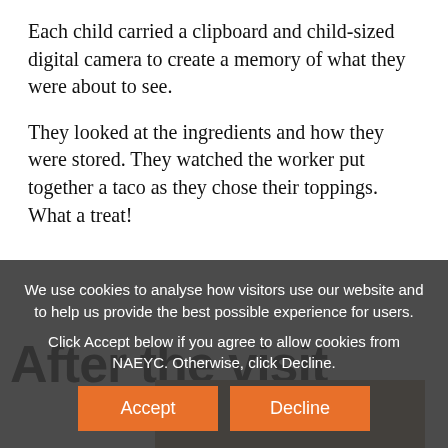Each child carried a clipboard and child-sized digital camera to create a memory of what they were about to see.
They looked at the ingredients and how they were stored. They watched the worker put together a taco as they chose their toppings. What a treat!
After the visit
[Figure (photo): Partial photo of child(ren), partially obscured by cookie consent overlay]
We use cookies to analyse how visitors use our website and to help us provide the best possible experience for users.
Click Accept below if you agree to allow cookies from NAEYC. Otherwise, click Decline.